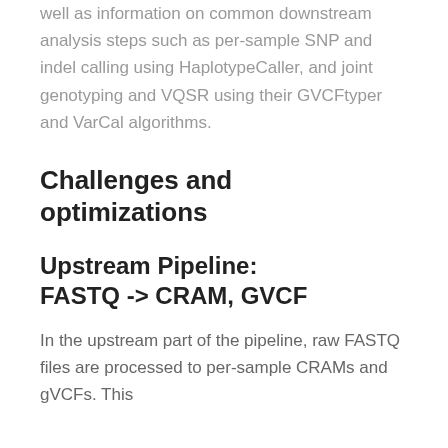well as information on common downstream analysis steps such as per-sample SNP and indel calling using HaplotypeCaller, and joint genotyping and VQSR using their GVCFtyper and VarCal algorithms.
Challenges and optimizations
Upstream Pipeline: FASTQ -> CRAM, GVCF
In the upstream part of the pipeline, raw FASTQ files are processed to per-sample CRAMs and gVCFs. This